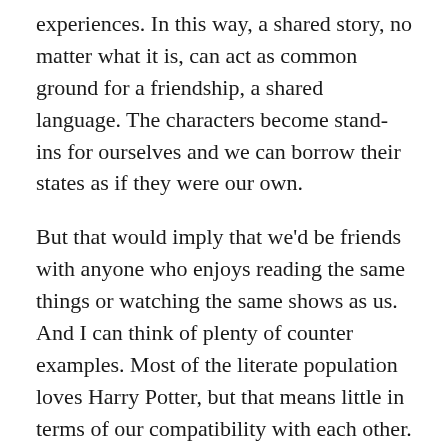experiences. In this way, a shared story, no matter what it is, can act as common ground for a friendship, a shared language. The characters become stand-ins for ourselves and we can borrow their states as if they were our own.
But that would imply that we’d be friends with anyone who enjoys reading the same things or watching the same shows as us. And I can think of plenty of counter examples. Most of the literate population loves Harry Potter, but that means little in terms of our compatibility with each other. I can’t help but think there’s something more specific about a taste in comedy that reveals something more essential about a person’s personality. The nuances in our individual senses of humor, that elusive trait that is almost impossible to define except by intuition, can either glue us together, or put an intangible barrier between us. Why is there is an important connection between our sense of humor and its tastes—to